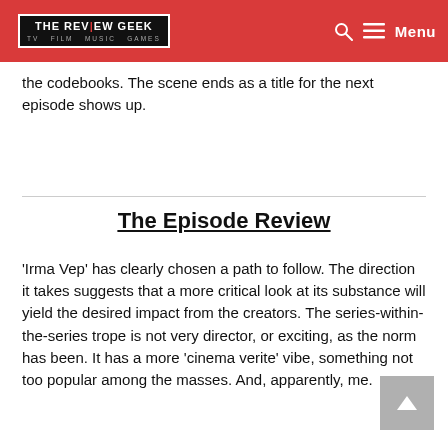THE REVIEW GEEK | TV FILM MUSIC GAMES
the codebooks. The scene ends as a title for the next episode shows up.
The Episode Review
‘Irma Vep’ has clearly chosen a path to follow. The direction it takes suggests that a more critical look at its substance will yield the desired impact from the creators. The series-within-the-series trope is not very director, or exciting, as the norm has been. It has a more ‘cinema verite’ vibe, something not too popular among the masses. And, apparently, me.